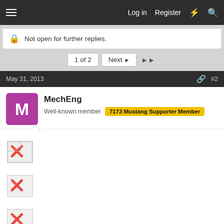Log in  Register
Not open for further replies.
1 of 2  Next  ▶▶
May 31, 2013  #2
MechEng
Well-known member  7173 Mustang Supporter Member
[Figure (screenshot): Three broken image icons (image not found placeholders) stacked vertically in the post content area]